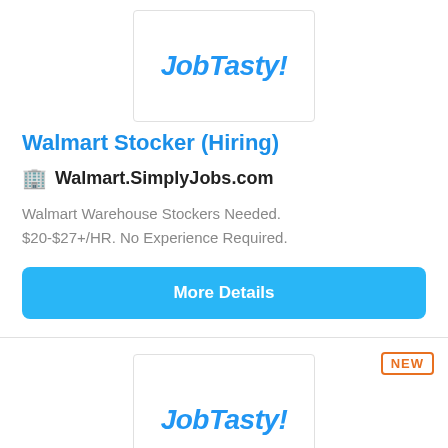[Figure (logo): JobTasty! logo in blue italic bold text inside a white bordered box]
Walmart Stocker (Hiring)
Walmart.SimplyJobs.com
Walmart Warehouse Stockers Needed. $20-$27+/HR. No Experience Required.
More Details
[Figure (logo): JobTasty! logo in blue italic bold text inside a white bordered box, with NEW badge in orange]